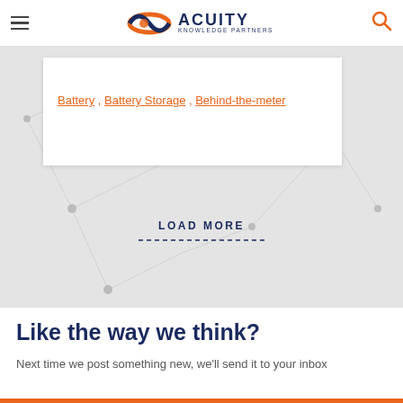Acuity Knowledge Partners
Battery , Battery Storage , Behind-the-meter
LOAD MORE
Like the way we think?
Next time we post something new, we'll send it to your inbox